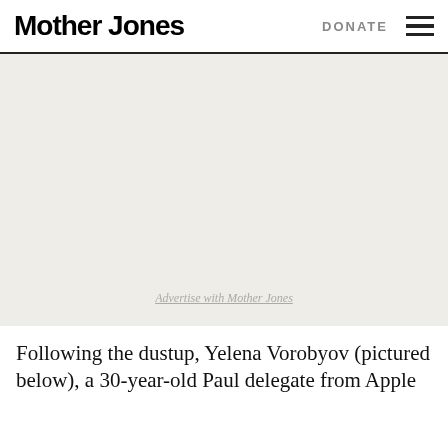Mother Jones | DONATE
[Figure (other): Advertisement placeholder area with light gray background and 'Advertise with Mother Jones' link text]
Following the dustup, Yelena Vorobyov (pictured below), a 30-year-old Paul delegate from Apple